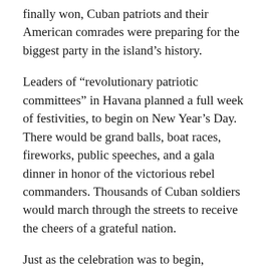finally won, Cuban patriots and their American comrades were preparing for the biggest party in the island's history.
Leaders of “revolutionary patriotic committees” in Havana planned a full week of festivities, to begin on New Year’s Day. There would be grand balls, boat races, fireworks, public speeches, and a gala dinner in honor of the victorious rebel commanders. Thousands of Cuban soldiers would march through the streets to receive the cheers of a grateful nation.
Just as the celebration was to begin, however, the newly named American military governor of Cuba, General John Brooke, made a stunning announcement. He forbade the entire program. Not only would there be no parade of Cuban soldiers, but any who tried to